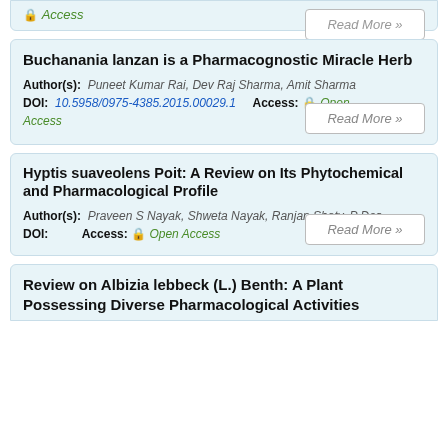Access
Read More »
Buchanania lanzan is a Pharmacognostic Miracle Herb
Author(s): Puneet Kumar Rai, Dev Raj Sharma, Amit Sharma
DOI: 10.5958/0975-4385.2015.00029.1   Access: Open Access
Read More »
Hyptis suaveolens Poit: A Review on Its Phytochemical and Pharmacological Profile
Author(s): Praveen S Nayak, Shweta Nayak, Ranjan Shety, P Das
DOI:   Access: Open Access
Read More »
Review on Albizia lebbeck (L.) Benth: A Plant Possessing Diverse Pharmacological Activities